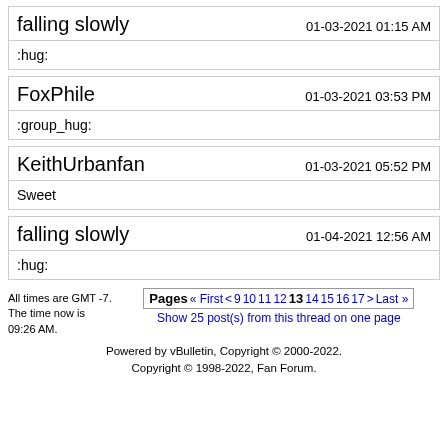falling slowly — 01-03-2021 01:15 AM — :hug:
FoxPhile — 01-03-2021 03:53 PM — :group_hug:
KeithUrbanfan — 01-03-2021 05:52 PM — Sweet
falling slowly — 01-04-2021 12:56 AM — :hug:
All times are GMT -7. The time now is 09:26 AM. Pages « First < 9 10 11 12 13 14 15 16 17 > Last » Show 25 post(s) from this thread on one page Powered by vBulletin, Copyright © 2000-2022. Copyright © 1998-2022, Fan Forum.